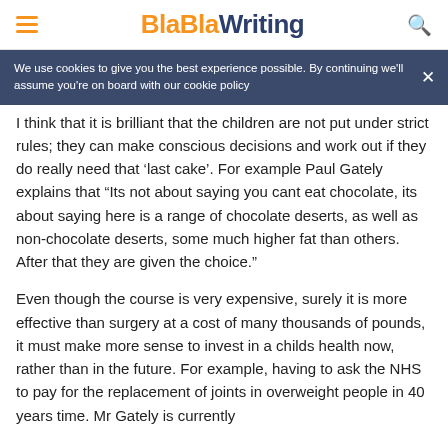BlaBlaWriting
We use cookies to give you the best experience possible. By continuing we'll assume you're on board with our cookie policy
I think that it is brilliant that the children are not put under strict rules; they can make conscious decisions and work out if they do really need that 'last cake'. For example Paul Gately explains that “Its not about saying you cant eat chocolate, its about saying here is a range of chocolate deserts, as well as non-chocolate deserts, some much higher fat than others. After that they are given the choice.”
Even though the course is very expensive, surely it is more effective than surgery at a cost of many thousands of pounds, it must make more sense to invest in a childs health now, rather than in the future. For example, having to ask the NHS to pay for the replacement of joints in overweight people in 40 years time. Mr Gately is currently